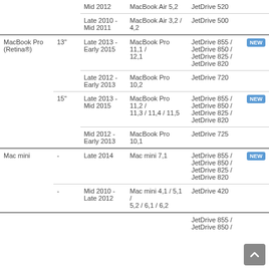| Product | Size | Year | Model Identifier | Compatible JetDrive |  |
| --- | --- | --- | --- | --- | --- |
|  |  | Mid 2012 | MacBook Air 5,2 | JetDrive 520 |  |
|  |  | Late 2010 - Mid 2011 | MacBook Air 3,2 / 4,2 | JetDrive 500 |  |
| MacBook Pro (Retina®) | 13" | Late 2013 - Early 2015 | MacBook Pro 11,1 / 12,1 | JetDrive 855 / JetDrive 850 / JetDrive 825 / JetDrive 820 | NEW |
|  | 13" | Late 2012 - Early 2013 | MacBook Pro 10,2 | JetDrive 720 |  |
|  | 15" | Late 2013 - Mid 2015 | MacBook Pro 11,2 / 11,3 / 11,4 / 11,5 | JetDrive 855 / JetDrive 850 / JetDrive 825 / JetDrive 820 | NEW |
|  | 15" | Mid 2012 - Early 2013 | MacBook Pro 10,1 | JetDrive 725 |  |
| Mac mini | - | Late 2014 | Mac mini 7,1 | JetDrive 855 / JetDrive 850 / JetDrive 825 / JetDrive 820 | NEW |
|  | - | Mid 2010 - Late 2012 | Mac mini 4,1 / 5,1 / 5,2 / 6,1 / 6,2 | JetDrive 420 |  |
|  |  |  |  | JetDrive 855 / JetDrive 850 / |  |